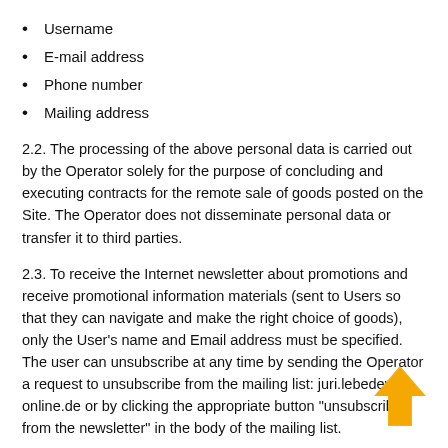Username
E-mail address
Phone number
Mailing address
2.2. The processing of the above personal data is carried out by the Operator solely for the purpose of concluding and executing contracts for the remote sale of goods posted on the Site. The Operator does not disseminate personal data or transfer it to third parties.
2.3. To receive the Internet newsletter about promotions and receive promotional information materials (sent to Users so that they can navigate and make the right choice of goods), only the User's name and Email address must be specified. The user can unsubscribe at any time by sending the Operator a request to unsubscribe from the mailing list: juri.lebedev@t-online.de or by clicking the appropriate button "unsubscribe from the newsletter" in the body of the mailing list.